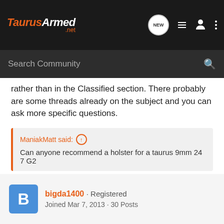TaurusArmed.net — Search Community
rather than in the Classified section. There probably are some threads already on the subject and you can ask more specific questions.
ManiakMatt said: ↑
Can anyone recommend a holster for a taurus 9mm 24 7 G2
bigda1400 · Registered
Joined Mar 7, 2013 · 30 Posts